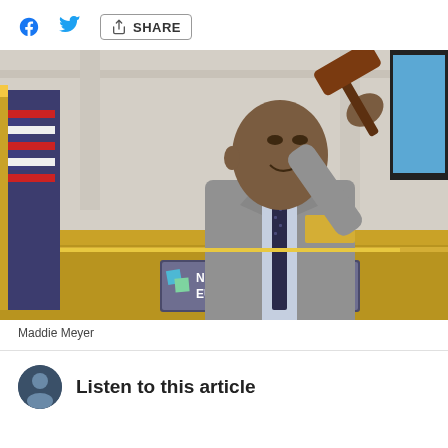f [twitter bird] SHARE
[Figure (photo): A man in a grey suit ringing a gavel at the NYSE Euronext trading podium, with an American flag visible in the background.]
Maddie Meyer
Listen to this article